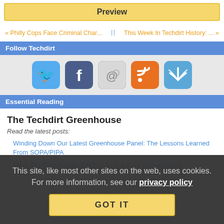Preview
« Philly Cops Face Criminal Char...   This Week In Techdirt History: ... »
Follow Techdirt
[Figure (illustration): Social media icons: Twitter, Facebook, Email, RSS, WiFi/Techdirt app]
Essential Reading
The Techdirt Greenhouse
Read the latest posts:
Winding Down Our Latest Greenhouse Panel: The Lessons Learned From SOPA/PIPA
From The Revolt Against SOPA To The EU's Upload Filters
This site, like most other sites on the web, uses cookies. For more information, see our privacy policy
GOT IT